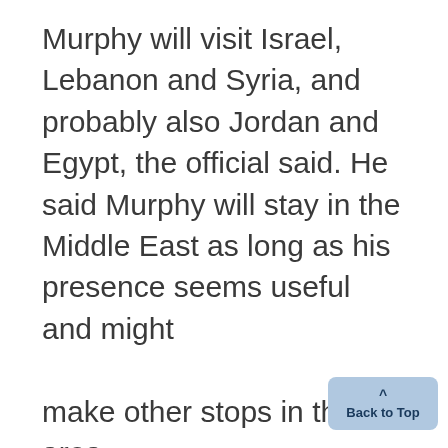Murphy will visit Israel, Lebanon and Syria, and probably also Jordan and Egypt, the official said. He said Murphy will stay in the Middle East as long as his presence seems useful and might

make other stops in the area.
In addition to Lebanon, this official said, Murphy will discuss prospects for general Arab-Israeli peace negotiations, although there are not any indications that the time is right for a new U.S. push on President Reagan's 1982 peace initiative.